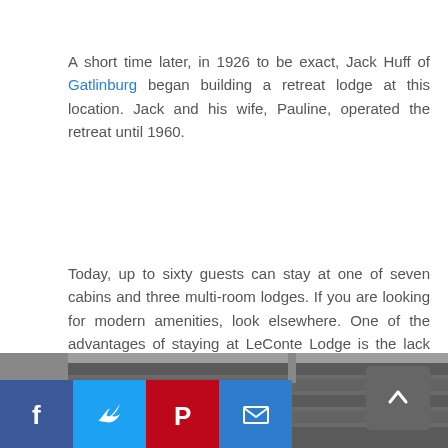A short time later, in 1926 to be exact, Jack Huff of Gatlinburg began building a retreat lodge at this location. Jack and his wife, Pauline, operated the retreat until 1960.
Today, up to sixty guests can stay at one of seven cabins and three multi-room lodges. If you are looking for modern amenities, look elsewhere. One of the advantages of staying at LeConte Lodge is the lack of... pretty much everything.
There are no distractions on the top of the mountain. Welcome to secluded, peaceful, mountain beauty.
Read a book, take a walk, watch the sunset, talk to someone, or just take in your surroundings. It is calm and relaxing.
[Figure (photo): Partial view of a mountain lodge roof, showing dark shingles, at the bottom of the page. Social media share buttons (Facebook, Twitter, Pinterest, Email) visible in the lower left corner. A scroll-to-top arrow button in the lower right.]